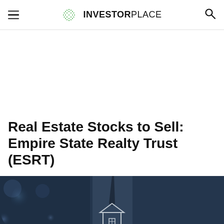INVESTORPLACE
Real Estate Stocks to Sell: Empire State Realty Trust (ESRT)
[Figure (photo): A man in a suit holding a small house model, with blurred bokeh dark blue background suggesting real estate investment theme.]